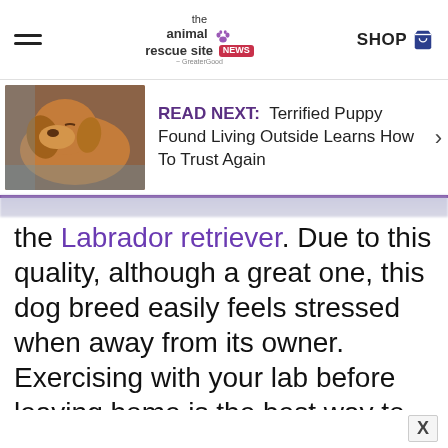the animal rescue site news — SHOP
[Figure (screenshot): READ NEXT banner with a photo of a sleeping golden/reddish puppy and the text: 'READ NEXT: Terrified Puppy Found Living Outside Learns How To Trust Again']
the Labrador retriever. Due to this quality, although a great one, this dog breed easily feels stressed when away from its owner. Exercising with your lab before leaving home is the best way to break anxiety. A good run or walk in the morning can help — if not, it's best to share this issue with your